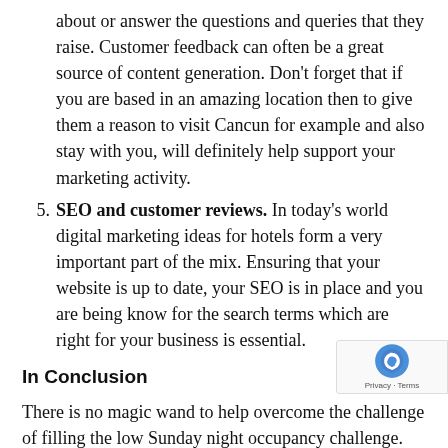about or answer the questions and queries that they raise. Customer feedback can often be a great source of content generation. Don't forget that if you are based in an amazing location then to give them a reason to visit Cancun for example and also stay with you, will definitely help support your marketing activity.
SEO and customer reviews. In today's world digital marketing ideas for hotels form a very important part of the mix. Ensuring that your website is up to date, your SEO is in place and you are being know for the search terms which are right for your business is essential.
In Conclusion
There is no magic wand to help overcome the challenge of filling the low Sunday night occupancy challenge. But a good, solid marketing approach you can definitely try to impact and improve occupancy. Putting the customer at heart of everything that you do will enable not visit in their